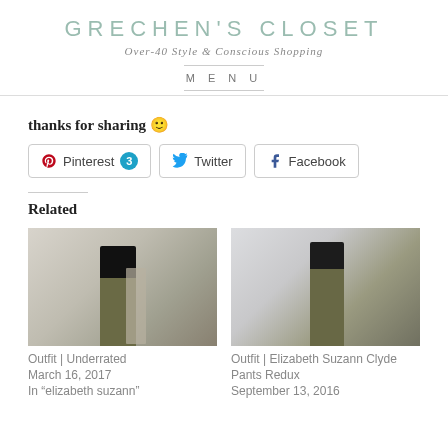GRECHEN'S CLOSET
Over-40 Style & Conscious Shopping
MENU
thanks for sharing 🙂
Pinterest 3  Twitter  Facebook
Related
[Figure (photo): Two fashion blog related images side by side showing outfit photos]
Outfit | Underrated
March 16, 2017
In "elizabeth suzann"
Outfit | Elizabeth Suzann Clyde Pants Redux
September 13, 2016